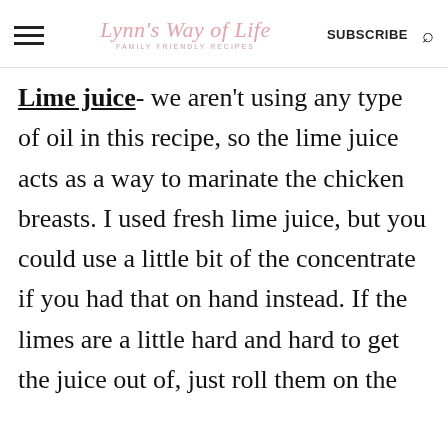Lynn's Way of Life — FAMILY FRIENDLY RECIPES — SUBSCRIBE
Lime juice- we aren't using any type of oil in this recipe, so the lime juice acts as a way to marinate the chicken breasts. I used fresh lime juice, but you could use a little bit of the concentrate if you had that on hand instead. If the limes are a little hard and hard to get the juice out of, just roll them on the